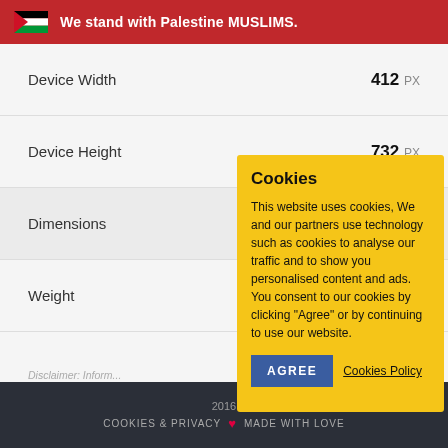We stand with Palestine MUSLIMS.
| Property | Value |
| --- | --- |
| Device Width | 412 PX |
| Device Height | 732 PX |
| Dimensions | 143.8 x 69.5 x 8.5 MM |
| Weight |  |
Disclaimer: Inform... to keep the inform... If you find anything...
[Figure (screenshot): Cookie consent popup with yellow background, 'Cookies' heading, cookie usage text, AGREE button, and Cookies Policy link]
2016 | COOKIES & PRIVACY ❤ MADE WITH LOVE